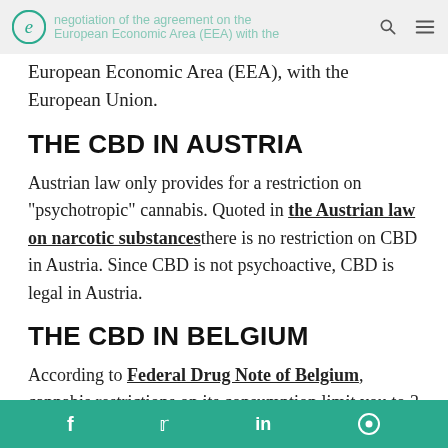negotiation of the agreement on the European Economic Area (EEA) with the European Union.
negotiation of the agreement on the European Economic Area (EEA) with the European Union.
THE CBD IN AUSTRIA
Austrian law only provides for a restriction on "psychotropic" cannabis. Quoted in the Austrian law on narcotic substances there is no restriction on CBD in Austria. Since CBD is not psychoactive, CBD is legal in Austria.
THE CBD IN BELGIUM
According to Federal Drug Note of Belgium, cannabis restrictions on its consumption limit you to 3 grams of cannabis or less. However, the production, distribution and sale of
f  t  in  ●